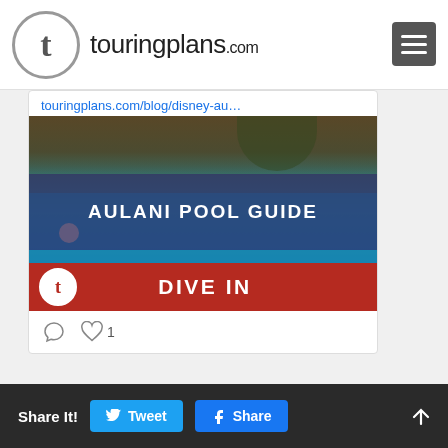touringplans.com
touringplans.com/blog/disney-au...
[Figure (photo): Aulani Pool Guide promotional image showing a resort pool with rocks and tropical setting, with text overlay 'AULANI POOL GUIDE' and red bar 'DIVE IN' at the bottom]
♡ 1
TouringPlans @TouringPlans · 6h
ICYMI: BIG NEWS! Disney Cruise Line...
Share It! Tweet Share